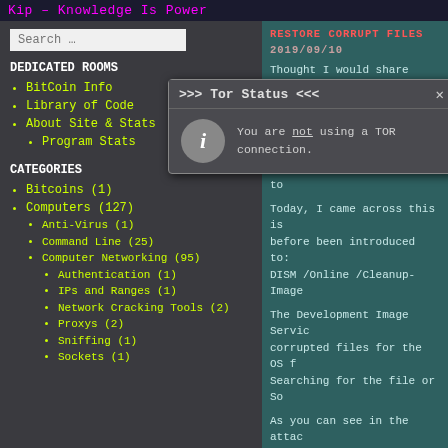Kip — Knowledge Is Power
[Figure (screenshot): Tor Status popup dialog showing: '>>> Tor Status <<<' title with an info icon. Message reads: 'You are not using a TOR connection.']
Search …
DEDICATED ROOMS
BitCoin Info
Library of Code
About Site & Stats
Program Stats
CATEGORIES
Bitcoins (1)
Computers (127)
Anti-Virus (1)
Command Line (25)
Computer Networking (95)
Authentication (1)
IPs and Ranges (1)
Network Cracking Tools (2)
Proxys (2)
Sniffing (1)
Sockets (1)
Thought I would share this... Checker in Windows to detect... Finds files that it cannot r... the CBS.log file in order to...
Today, I came across this is... before been introduced to: DISM /Online /Cleanup-Image
The Development Image Servic... corrupted files for the OS f... Searching for the file or So...
As you can see in the attac... it. I ran the DISM and it re... corrupted system files.
I hope that this helps and e... about it… don't rub it in!
Have a wonderful Weekend!
1,395 total views